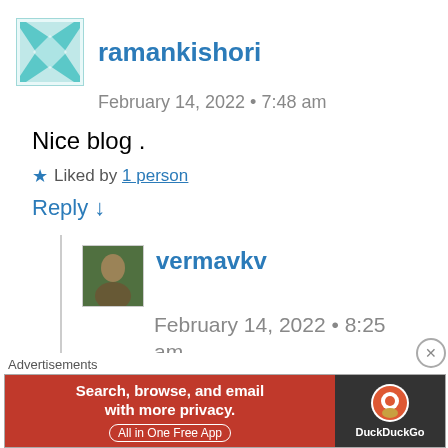ramankishori
February 14, 2022 • 7:48 am
Nice blog .
★ Liked by 1 person
Reply ↓
vermavkv
February 14, 2022 • 8:25 am
Thank you dear.
Advertisements
[Figure (other): DuckDuckGo advertisement banner: orange background with text 'Search, browse, and email with more privacy. All in One Free App' and DuckDuckGo logo on dark right panel]